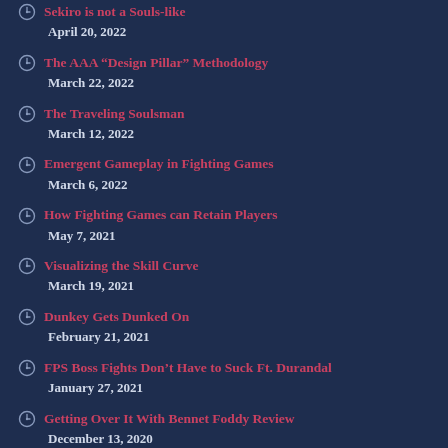Sekiro is not a Souls-like · April 20, 2022
The AAA “Design Pillar” Methodology · March 22, 2022
The Traveling Soulsman · March 12, 2022
Emergent Gameplay in Fighting Games · March 6, 2022
How Fighting Games can Retain Players · May 7, 2021
Visualizing the Skill Curve · March 19, 2021
Dunkey Gets Dunked On · February 21, 2021
FPS Boss Fights Don’t Have to Suck Ft. Durandal · January 27, 2021
Getting Over It With Bennet Foddy Review · December 13, 2020